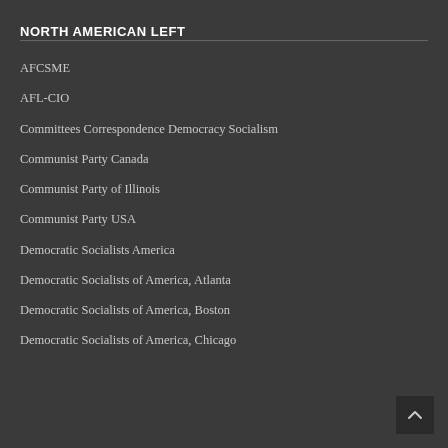NORTH AMERICAN LEFT
AFCSME
AFL-CIO
Committees Correspondence Democracy Socialism
Communist Party Canada
Communist Party of Illinois
Communist Party USA
Democratic Socialists America
Democratic Socialists of America, Atlanta
Democratic Socialists of America, Boston
Democratic Socialists of America, Chicago